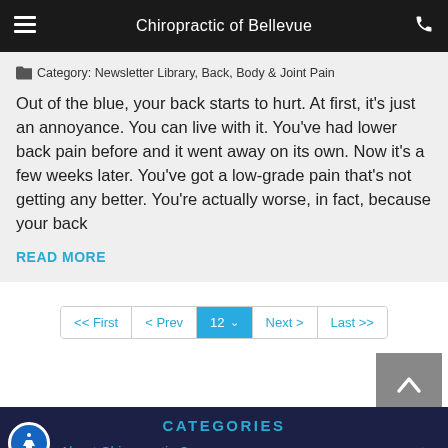Chiropractic of Bellevue
Category: Newsletter Library, Back, Body & Joint Pain
Out of the blue, your back starts to hurt. At first, it's just an annoyance. You can live with it. You've had lower back pain before and it went away on its own. Now it's a few weeks later. You've got a low-grade pain that's not getting any better. You're actually worse, in fact, because your back
READ MORE
<< First  < Prev  12  Next >  Last >>
CATEGORIES
About Chiropractic Care